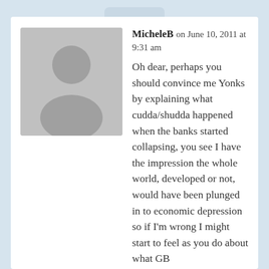MicheleB on June 10, 2011 at 9:31 am
Oh dear, perhaps you should convince me Yonks by explaining what cudda/shudda happened when the banks started collapsing, you see I have the impression the whole world, developed or not, would have been plunged in to economic depression so if I'm wrong I might start to feel as you do about what GB